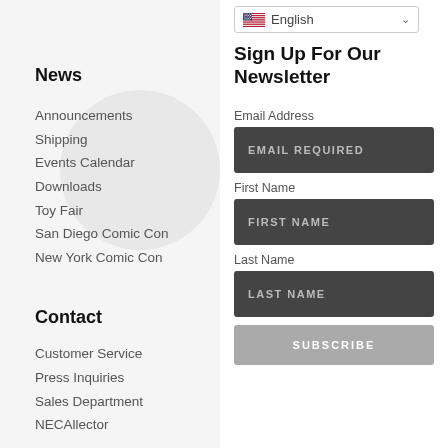News
Announcements
Shipping
Events Calendar
Downloads
Toy Fair
San Diego Comic Con
New York Comic Con
Contact
Customer Service
Press Inquiries
Sales Department
NECAllector
[Figure (screenshot): Language selector dropdown showing English with US flag]
Sign Up For Our Newsletter
Email Address
EMAIL REQUIRED
First Name
FIRST NAME
Last Name
LAST NAME
SUBSCRIBE